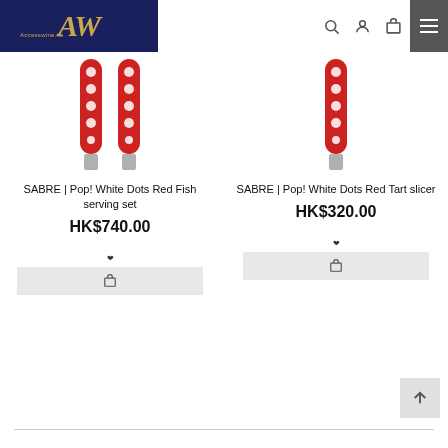Accesswine.hk navigation header with logo, search, account, cart, and menu icons
[Figure (photo): Two red-handled serving utensils (fish servers) with white polka dots on a white background]
SABRE | Pop! White Dots Red Fish serving set
HK$740.00
[Figure (photo): One red-handled tart slicer with white polka dots on a white background]
SABRE | Pop! White Dots Red Tart slicer
HK$320.00